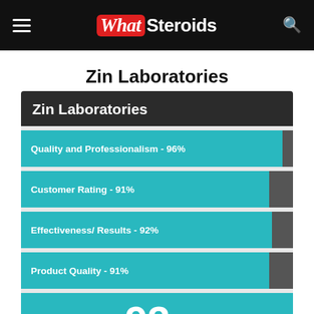WhatSteroids
Zin Laboratories
[Figure (bar-chart): Zin Laboratories]